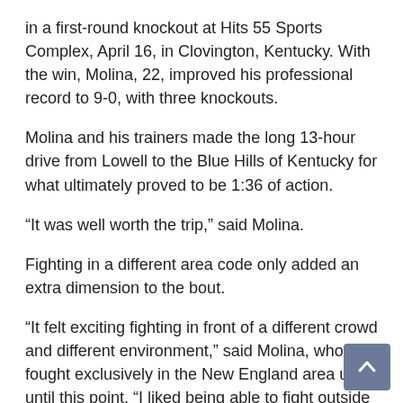in a first-round knockout at Hits 55 Sports Complex, April 16, in Clovington, Kentucky. With the win, Molina, 22, improved his professional record to 9-0, with three knockouts.
Molina and his trainers made the long 13-hour drive from Lowell to the Blue Hills of Kentucky for what ultimately proved to be 1:36 of action.
“It was well worth the trip,” said Molina.
Fighting in a different area code only added an extra dimension to the bout.
“It felt exciting fighting in front of a different crowd and different environment,” said Molina, who has fought exclusively in the New England area up until this point. “I liked being able to fight outside of my comfort zone and out of my hometown area for the first time in my professional career.”